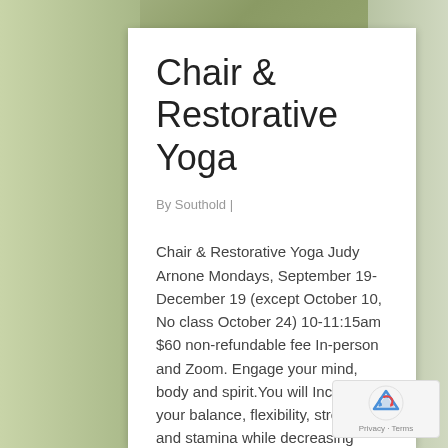[Figure (photo): Outdoor nature background with green foliage and plants visible behind a white content card]
Chair & Restorative Yoga
By Southold |
Chair & Restorative Yoga Judy Arnone Mondays, September 19-December 19 (except October 10, No class October 24) 10-11:15am $60 non-refundable fee In-person and Zoom. Engage your mind, body and spirit.You will Increase your balance, flexibility, strength and stamina while decreasing stress, muscle tension, and blood pressure